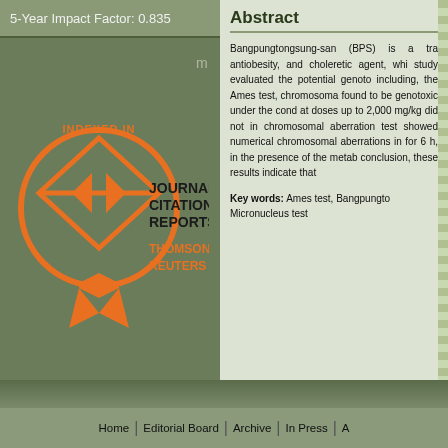5-Year Impact Factor: 0.835
[Figure (logo): Journal Citation Reports Thomson Reuters indexed logo with orange circle and award ribbon design]
[Figure (logo): Creative Commons CC BY NC license badge]
Visitors:
1279711
Abstract
Bangpungtongsung-san (BPS) is a tra antiobesity, and choleretic agent, whi study evaluated the potential genoto including, the Ames test, chromosoma found to be genotoxic under the cond at doses up to 2,000 mg/kg did not in chromosomal aberration test showed numerical chromosomal aberrations in for 6 h, in the presence of the metab conclusion, these results indicate that
Key words: Ames test, Bangpungto Micronucleus test
Home | Editorial Board | Archive | In Press | A